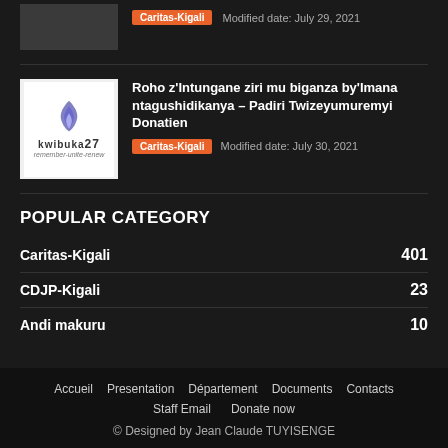Caritas-Kigali   Modified date: July 29, 2021
[Figure (logo): Kwibuka 27 remember-unite-renew logo with flame icon on white background]
Roho z'Intungane ziri mu biganza by'Imana ntagushidikanya – Padiri Twizeyumuremyi Donatien
Caritas-Kigali   Modified date: July 30, 2021
POPULAR CATEGORY
Caritas-Kigali   401
CDJP-Kigali   23
Andi makuru   10
Accueil   Presentation   Département   Documents   Contacts   Staff Email   Donate now   © Designed by Jean Claude TUYISENGE